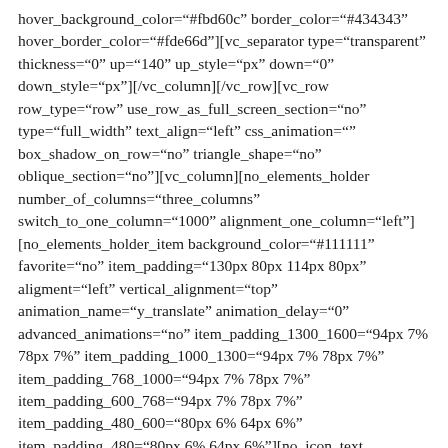hover_background_color="#fbd60c" border_color="#434343" hover_border_color="#fde66d"][vc_separator type="transparent" thickness="0" up="140" up_style="px" down="0" down_style="px"][/vc_column][/vc_row][vc_row row_type="row" use_row_as_full_screen_section="no" type="full_width" text_align="left" css_animation="" box_shadow_on_row="no" triangle_shape="no" oblique_section="no"][vc_column][no_elements_holder number_of_columns="three_columns" switch_to_one_column="1000" alignment_one_column="left"] [no_elements_holder_item background_color="#111111" favorite="no" item_padding="130px 80px 114px 80px" aligment="left" vertical_alignment="top" animation_name="y_translate" animation_delay="0" advanced_animations="no" item_padding_1300_1600="94px 7% 78px 7%" item_padding_1000_1300="94px 7% 78px 7%" item_padding_768_1000="94px 7% 78px 7%" item_padding_600_768="94px 7% 78px 7%" item_padding_480_600="80px 6% 64px 6%" item_padding_480="80px 6% 64px 6%"][no_icon_text box_type="normal" icon_pack="font_elegant" fe_icon="icon_cart_alt" icon_type="normal" icon_size="fa-lg" icon_animation_hover="no" icon_position="left_from_title" icon_reveal_on_hover="yes" icon_margin="-9px 0 0 0" separator="no" title="Online payment" title_tag="h5"